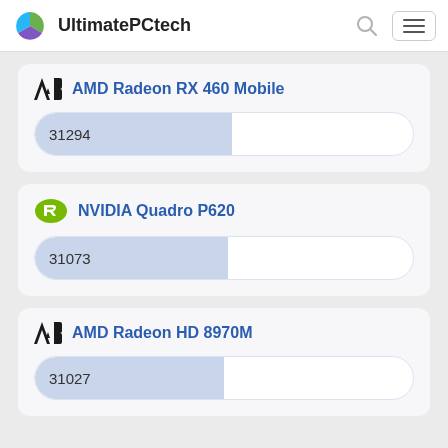UltimatePCtech
AMD Radeon RX 460 Mobile — 31294
NVIDIA Quadro P620 — 31073
AMD Radeon HD 8970M — 31027